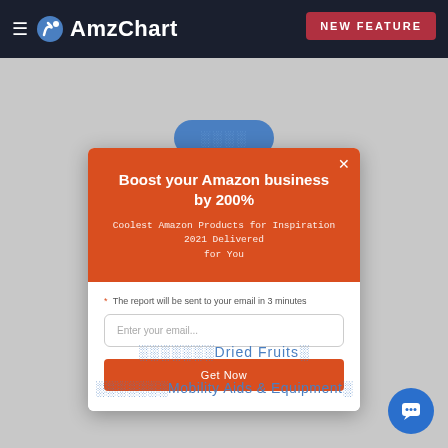AmzChart — NEW FEATURE
Boost your Amazon business by 200%
Coolest Amazon Products for Inspiration 2021 Delivered for You
* The report will be sent to your email in 3 minutes
Enter your email...
Get Now
░░░░░░░Dried Fruits░
░░░░░░░Mobility Aids & Equipment░